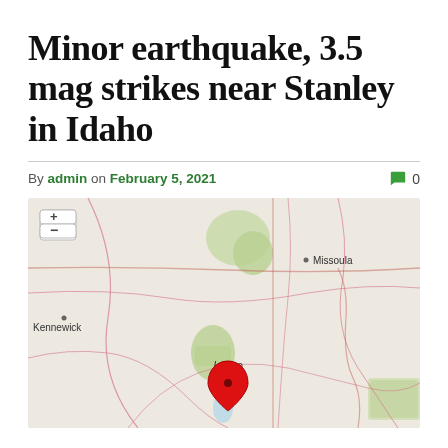Minor earthquake, 3.5 mag strikes near Stanley in Idaho
By admin on February 5, 2021  💬 0
[Figure (map): Map showing the region around Stanley, Idaho with a red earthquake marker. Labels visible include Kennewick, Missoula, and Idaho. Map includes zoom controls (+ and -) in the upper left.]